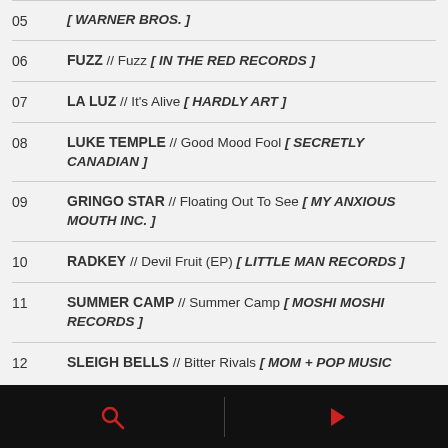05 [ WARNER BROS. ]
06 FUZZ // Fuzz [ IN THE RED RECORDS ]
07 LA LUZ // It's Alive [ HARDLY ART ]
08 LUKE TEMPLE // Good Mood Fool [ SECRETLY CANADIAN ]
09 GRINGO STAR // Floating Out To See [ MY ANXIOUS MOUTH INC. ]
10 RADKEY // Devil Fruit (EP) [ LITTLE MAN RECORDS ]
11 SUMMER CAMP // Summer Camp [ MOSHI MOSHI RECORDS ]
12 SLEIGH BELLS // Bitter Rivals [ MOM + POP MUSIC